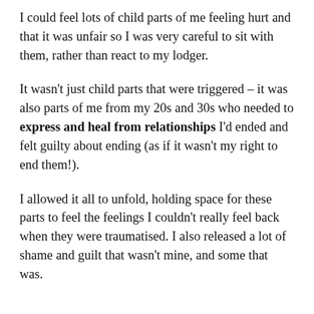I could feel lots of child parts of me feeling hurt and that it was unfair so I was very careful to sit with them, rather than react to my lodger.
It wasn't just child parts that were triggered – it was also parts of me from my 20s and 30s who needed to express and heal from relationships I'd ended and felt guilty about ending (as if it wasn't my right to end them!).
I allowed it all to unfold, holding space for these parts to feel the feelings I couldn't really feel back when they were traumatised. I also released a lot of shame and guilt that wasn't mine, and some that was.